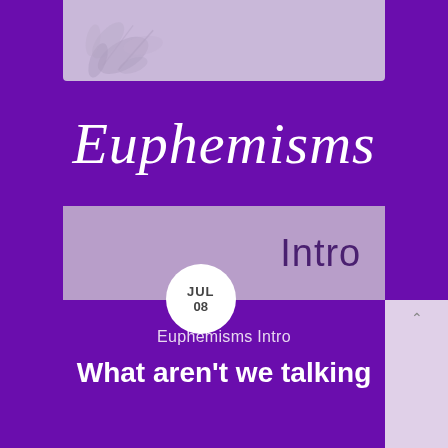[Figure (illustration): Light purple/lavender top panel with decorative leaf/floral illustration in the upper left corner]
Euphemisms
[Figure (illustration): Lavender rectangular subtitle panel showing 'Intro' text in dark purple, with a white circular date badge showing 'JUL 08']
Euphemisms Intro
What aren't we talking